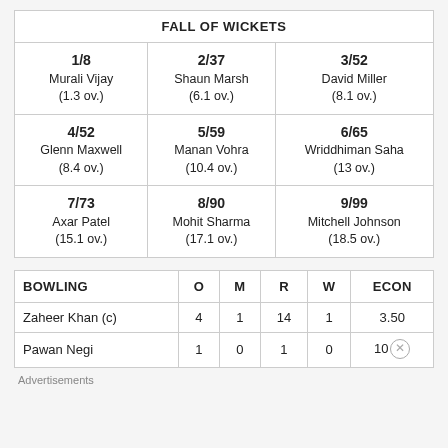| FALL OF WICKETS |  |  |
| --- | --- | --- |
| 1/8
Murali Vijay
(1.3 ov.) | 2/37
Shaun Marsh
(6.1 ov.) | 3/52
David Miller
(8.1 ov.) |
| 4/52
Glenn Maxwell
(8.4 ov.) | 5/59
Manan Vohra
(10.4 ov.) | 6/65
Wriddhiman Saha
(13 ov.) |
| 7/73
Axar Patel
(15.1 ov.) | 8/90
Mohit Sharma
(17.1 ov.) | 9/99
Mitchell Johnson
(18.5 ov.) |
| BOWLING | O | M | R | W | Econ |
| --- | --- | --- | --- | --- | --- |
| Zaheer Khan (c) | 4 | 1 | 14 | 1 | 3.50 |
| Pawan Negi | 1 | 0 | 1 | 0 | 10 |
Advertisements